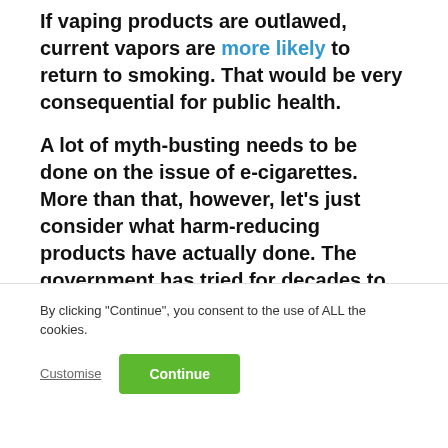If vaping products are outlawed, current vapors are more likely to return to smoking. That would be very consequential for public health.
A lot of myth-busting needs to be done on the issue of e-cigarettes. More than that, however, let’s just consider what harm-reducing products have actually done. The government has tried for decades to get people to stop smoking. In order to do that, it
By clicking “Continue”, you consent to the use of ALL the cookies.